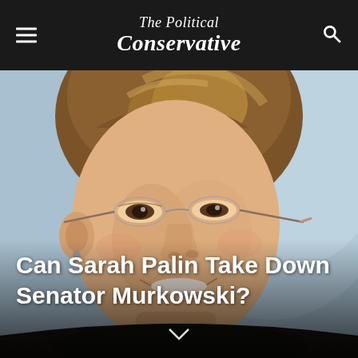The Political Conservative
[Figure (photo): Close-up photograph of Sarah Palin smiling, wearing rimless glasses, with auburn hair styled up, against a light blue background]
Can Sarah Palin Take Down Senator Murkowski?